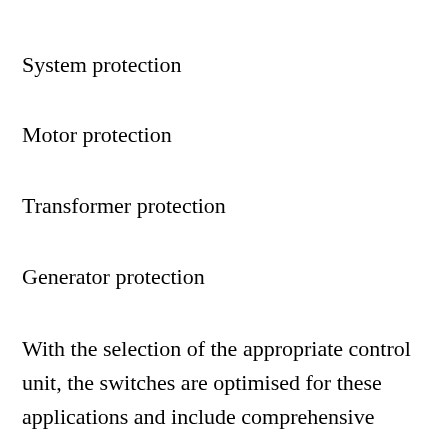System protection
Motor protection
Transformer protection
Generator protection
With the selection of the appropriate control unit, the switches are optimised for these applications and include comprehensive